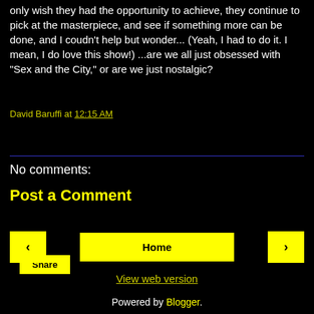only wish they had the opportunity to achieve, they continue to pick at the masterpiece, and see if something more can be done, and I coudn't help but wonder... (Yeah, I had to do it. I mean, I do love this show!) ...are we all just obsessed with "Sex and the City," or are we just nostalgic?
David Baruffi at 12:15 AM
Share
No comments:
Post a Comment
‹
Home
›
View web version
Powered by Blogger.